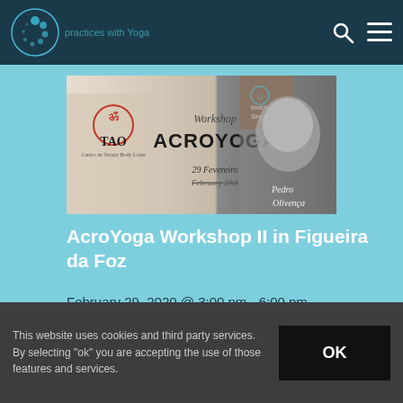practices with Yoga Nidra yoga and Flying Alt...
[Figure (logo): Circular blue spiral logo]
[Figure (photo): AcroYoga Workshop II event banner with TAO logo, Pedro Olivença, Workshop AcroYoga text, 29 Fevereiro February 29th]
AcroYoga Workshop II in Figueira da Foz
February 29, 2020 @ 3:00 pm - 6:00 pm
This website uses cookies and third party services. By selecting "ok" you are accepting the use of those features and services.